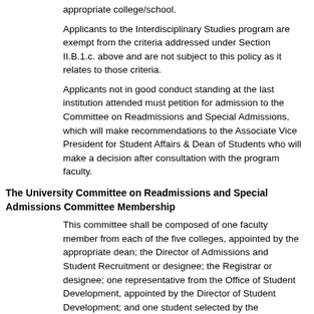appropriate college/school.
Applicants to the Interdisciplinary Studies program are exempt from the criteria addressed under Section II.B.1.c. above and are not subject to this policy as it relates to those criteria.
Applicants not in good conduct standing at the last institution attended must petition for admission to the Committee on Readmissions and Special Admissions, which will make recommendations to the Associate Vice President for Student Affairs & Dean of Students who will make a decision after consultation with the program faculty.
The University Committee on Readmissions and Special Admissions Committee Membership
This committee shall be composed of one faculty member from each of the five colleges, appointed by the appropriate dean; the Director of Admissions and Student Recruitment or designee; the Registrar or designee; one representative from the Office of Student Development, appointed by the Director of Student Development; and one student selected by the